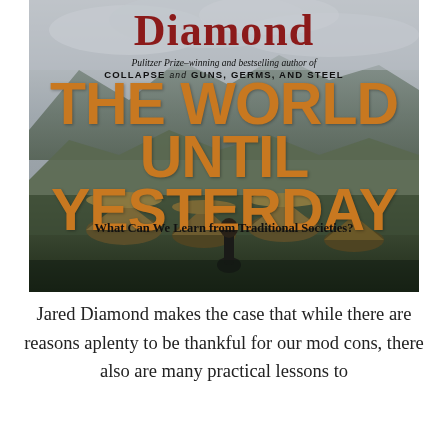Diamond
Pulitzer Prize–winning and bestselling author of COLLAPSE and GUNS, GERMS, AND STEEL
THE WORLD UNTIL YESTERDAY
What Can We Learn from Traditional Societies?
[Figure (photo): Black and white photograph of a traditional village with thatched-roof huts in a highland valley, with a person visible in the foreground and mountains in the background]
Jared Diamond makes the case that while there are reasons aplenty to be thankful for our mod cons, there also are many practical lessons to